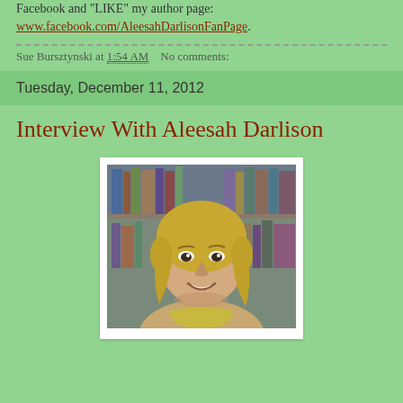Facebook and "LIKE" my author page: www.facebook.com/AleesahDarlisonFanPage.
Sue Bursztynski at 1:54 AM   No comments:
Tuesday, December 11, 2012
Interview With Aleesah Darlison
[Figure (photo): Portrait photo of a blonde woman smiling, wearing a yellow top, with bookshelves visible in the background. Photo has a white border frame.]